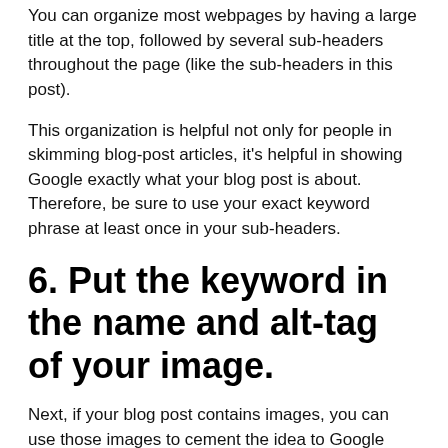You can organize most webpages by having a large title at the top, followed by several sub-headers throughout the page (like the sub-headers in this post).
This organization is helpful not only for people in skimming blog-post articles, it's helpful in showing Google exactly what your blog post is about. Therefore, be sure to use your exact keyword phrase at least once in your sub-headers.
6. Put the keyword in the name and alt-tag of your image.
Next, if your blog post contains images, you can use those images to cement the idea to Google about your post's topic. There are two ways to do this:
The image name
The image alt tag